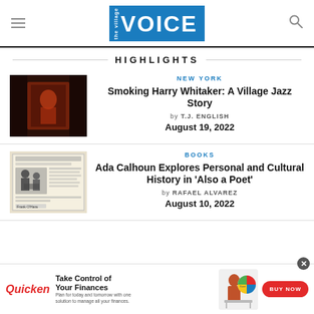the village VOICE
HIGHLIGHTS
[Figure (photo): Dark reddish-toned photo of a jazz musician framed in a doorway]
NEW YORK
Smoking Harry Whitaker: A Village Jazz Story
by T.J. ENGLISH
August 19, 2022
[Figure (photo): Black and white vintage newspaper clipping showing Frank O'Hara]
BOOKS
Ada Calhoun Explores Personal and Cultural History in 'Also a Poet'
by RAFAEL ALVAREZ
August 10, 2022
[Figure (infographic): Quicken advertisement banner: Take Control of Your Finances, BUY NOW button]